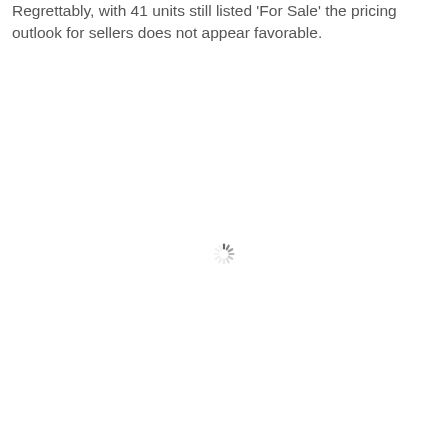Regrettably, with 41 units still listed 'For Sale' the pricing outlook for sellers does not appear favorable.
[Figure (other): Loading spinner icon — a circular arrangement of radial dashes indicating content is loading]